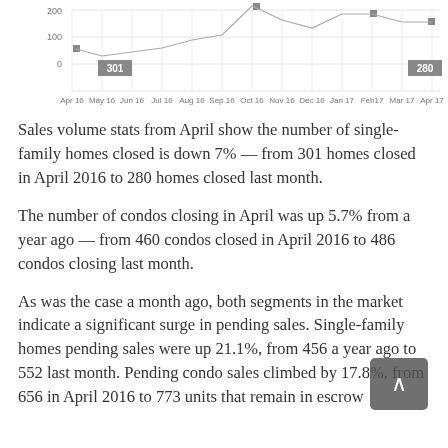[Figure (continuous-plot): Partial line/scatter chart showing closed homes data from Apr 16 to Apr 17, with labeled data points 301 (Apr 16) and 280 (Apr 17). Y-axis shows values 0, 100, 200. X-axis labels: Apr 16, May 16, Jun 16, Jul 16, Aug 16, Sep 16, Oct 16, Nov 16, Dec 16, Jan 17, Feb 17, Mar 17, Apr 17.]
Sales volume stats from April show the number of single-family homes closed is down 7% — from 301 homes closed in April 2016 to 280 homes closed last month.
The number of condos closing in April was up 5.7% from a year ago — from 460 condos closed in April 2016 to 486 condos closing last month.
As was the case a month ago, both segments in the market indicate a significant surge in pending sales. Single-family homes pending sales were up 21.1%, from 456 a year ago to 552 last month. Pending condo sales climbed by 17.8%, from 656 in April 2016 to 773 units that remain in escrow